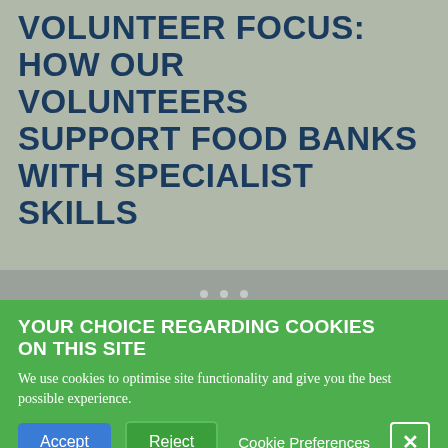VOLUNTEER FOCUS: HOW OUR VOLUNTEERS SUPPORT FOOD BANKS WITH SPECIALIST SKILLS
[Figure (screenshot): Website screenshot showing a partially visible article with gray background and navigation dots]
YOUR CHOICE REGARDING COOKIES ON THIS SITE
We use cookies to optimise site functionality and give you the best possible experience.
Accept | Reject | Cookie Preferences | [X close button]